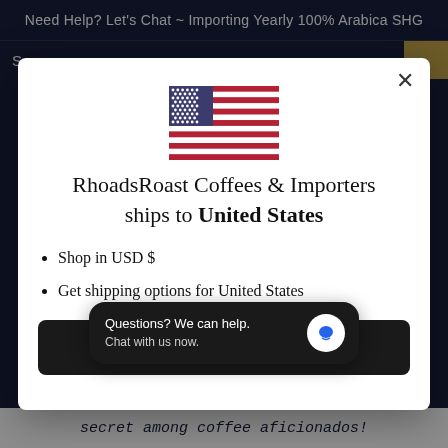Need Help? Let's Chat ~ Importing Yearly 100% Arabica SHG
[Figure (screenshot): Modal dialog showing US flag and shipping options for United States. Contains title 'RhoadsRoast Coffees & Importers ships to United States', bullet points 'Shop in USD $' and 'Get shipping options for United States', a 'Shop now' button, and a chat widget 'Questions? We can help. Chat with us now.']
secret among coffee aficionados!